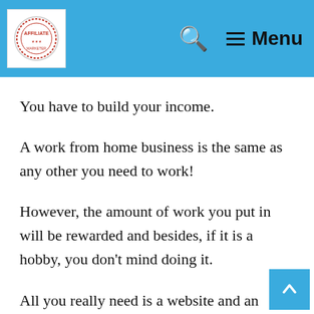Affiliate [logo] | Search | Menu
You have to build your income.
A work from home business is the same as any other you need to work!
However, the amount of work you put in will be rewarded and besides, if it is a hobby, you don't mind doing it.
All you really need is a website and an interest.